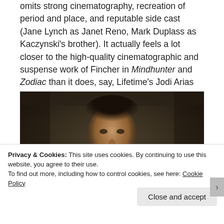omits strong cinematography, recreation of period and place, and reputable side cast (Jane Lynch as Janet Reno, Mark Duplass as Kaczynski's brother). It actually feels a lot closer to the high-quality cinematographic and suspense work of Fincher in Mindhunter and Zodiac than it does, say, Lifetime's Jodi Arias story.
[Figure (photo): A bearded man with dark hair looking intensely at the camera, in a dimly lit scene]
Privacy & Cookies: This site uses cookies. By continuing to use this website, you agree to their use.
To find out more, including how to control cookies, see here: Cookie Policy